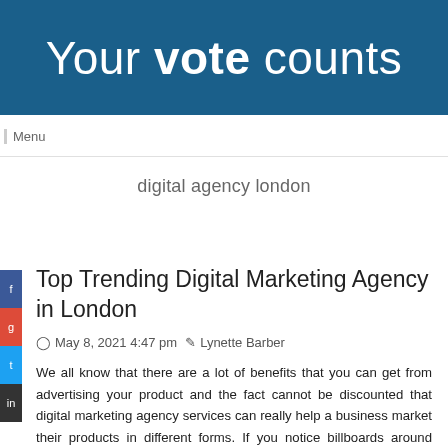[Figure (illustration): Dark blue banner with white text reading 'Your vote counts' where 'vote' is bold]
Menu
digital agency london
Top Trending Digital Marketing Agency in London
May 8, 2021 4:47 pm  Lynette Barber
We all know that there are a lot of benefits that you can get from advertising your product and the fact cannot be discounted that digital marketing agency services can really help a business market their products in different forms. If you notice billboards around metro manila, those are actually what a digital marketing agency